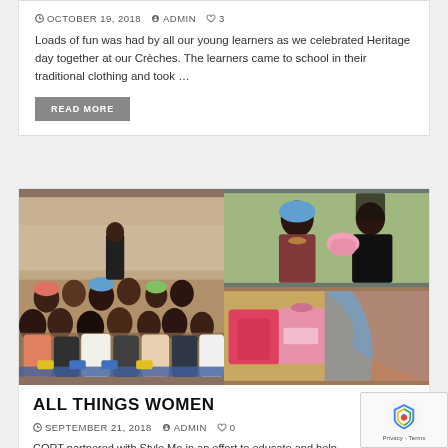OCTOBER 19, 2018  ADMIN  ♡ 3
Loads of fun was had by all our young learners as we celebrated Heritage day together at our Crèches. The learners came to school in their traditional clothing and took ...
READ MORE
[Figure (photo): Composite photo grid: left panel shows a large group of women seated outdoors at an event, viewed from behind, with a presenter standing in front. Top-right panel shows two women, one wearing a colorful headwrap, and one in black holding up a pink garment. Bottom-right panel shows colorful bags and items on a table.]
ALL THINGS WOMEN
SEPTEMBER 21, 2018  ADMIN  ♡ 0
CORT partnered with Style Me in an effort to educate and help